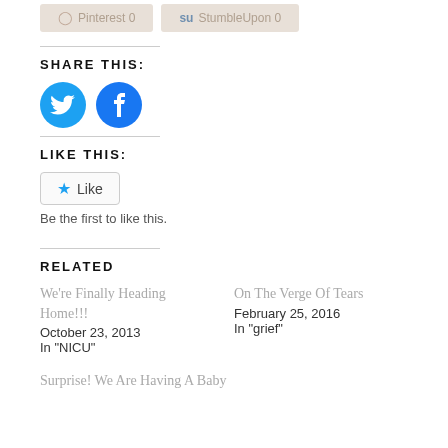[Figure (screenshot): Pinterest 0 and StumbleUpon 0 share buttons at top of page]
SHARE THIS:
[Figure (illustration): Twitter and Facebook circular share buttons]
LIKE THIS:
[Figure (screenshot): Like button widget with star icon]
Be the first to like this.
RELATED
We're Finally Heading Home!!!
October 23, 2013
In "NICU"
On The Verge Of Tears
February 25, 2016
In "grief"
Surprise! We Are Having A Baby